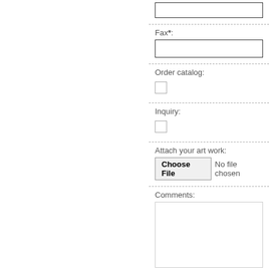Fax*:
Order catalog:
Inquiry:
Attach your art work:
Comments:
Send